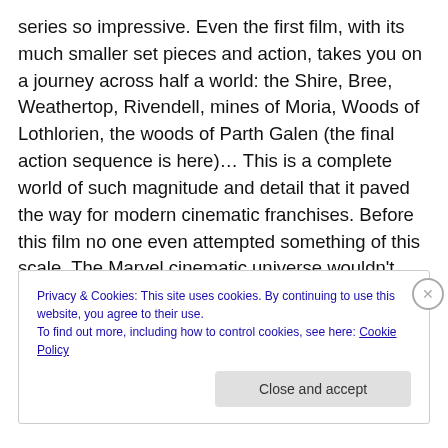series so impressive. Even the first film, with its much smaller set pieces and action, takes you on a journey across half a world: the Shire, Bree, Weathertop, Rivendell, mines of Moria, Woods of Lothlorien, the woods of Parth Galen (the final action sequence is here)… This is a complete world of such magnitude and detail that it paved the way for modern cinematic franchises. Before this film no one even attempted something of this scale. The Marvel cinematic universe wouldn't have been possible without LOTR blazing a trail.
Privacy & Cookies: This site uses cookies. By continuing to use this website, you agree to their use.
To find out more, including how to control cookies, see here: Cookie Policy